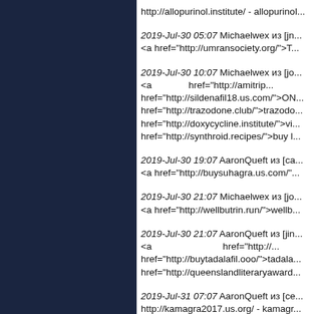http://allopurinol.institute/ - allopurinol...
2019-Jul-30 05:07 Michaelwex из [jn... <a href="http://umransociety.org/">T...
2019-Jul-30 10:07 Michaelwex из [jo... <a href="http://amitrip... href="http://sildenafil18.us.com/">ON... href="http://trazodone.club/">trazodo... href="http://doxycycline.institute/">vi... href="http://synthroid.recipes/">buy l...
2019-Jul-30 19:07 AaronQueft из [ca... <a href="http://buysuhagra.us.com/"...
2019-Jul-30 21:07 Michaelwex из [jo... <a href="http://wellbutrin.run/">wellb...
2019-Jul-30 21:07 AaronQueft из [jin... <a href="http://... href="http://buytadalafil.ooo/">tadala... href="http://queenslandliteraryaward...
2019-Jul-31 07:07 AaronQueft из [ce... http://kamagra2017.us.org/ - kamagr...